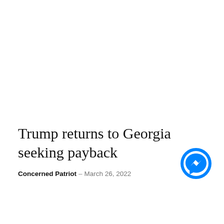Trump returns to Georgia seeking payback
Concerned Patriot – March 26, 2022
[Figure (logo): Facebook Messenger logo — blue circle with white lightning bolt chat icon]